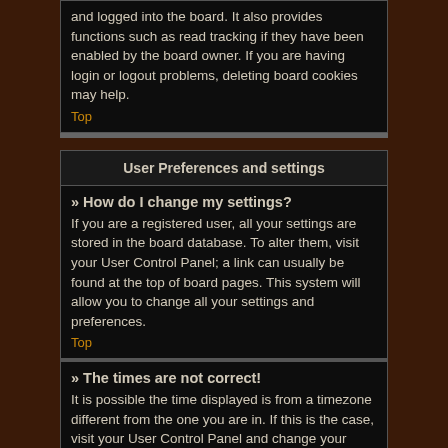and logged into the board. It also provides functions such as read tracking if they have been enabled by the board owner. If you are having login or logout problems, deleting board cookies may help.
Top
User Preferences and settings
» How do I change my settings?
If you are a registered user, all your settings are stored in the board database. To alter them, visit your User Control Panel; a link can usually be found at the top of board pages. This system will allow you to change all your settings and preferences.
Top
» The times are not correct!
It is possible the time displayed is from a timezone different from the one you are in. If this is the case, visit your User Control Panel and change your timezone to match your particular area, e.g. London, Paris, New York, Sydney, etc.